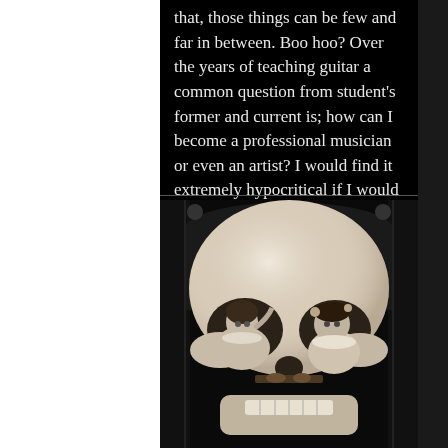that, those things can be few and far in between. Boo hoo? Over the years of teaching guitar a common question from student's former and current is; how can I become a professional musician or even an artist? I would find it extremely hypocritical if I would discourage
[Figure (illustration): Black and white vintage optical illusion illustration showing a large skull formed by two Victorian-era figures (a woman and a jester/clown) sitting at a table, which together form the eye sockets and nose of a skull.]